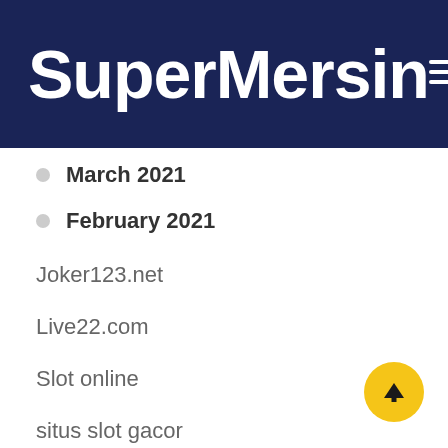SuperMersin
March 2021
February 2021
Joker123.net
Live22.com
Slot online
situs slot gacor